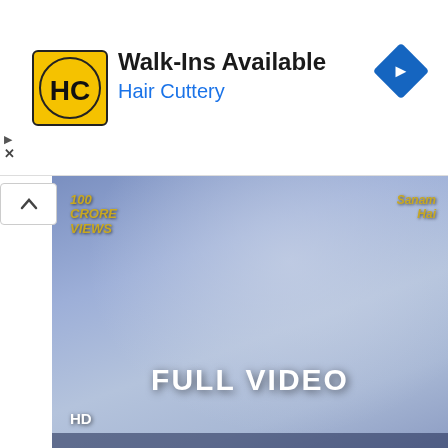[Figure (screenshot): Hair Cuttery advertisement banner with yellow HC logo, 'Walk-Ins Available' title, 'Hair Cuttery' subtitle in blue, and a blue navigation diamond icon on the right]
[Figure (screenshot): Video thumbnail showing 'FULL VIDEO' text in white on a blue-purple gradient background with 'HD' label and views counter]
Saaton Janam Tum - Hero No. 1 | Govinda & Karisma Kapoor | Kumar Sanu
[Figure (screenshot): Video thumbnail for 'Saton Janam Tumko' showing actors with red bold text 'SATON JANAM TUMKO' and a YouTube play button]